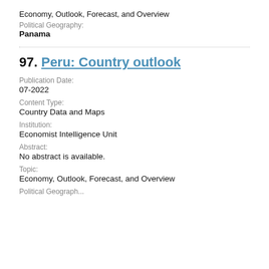Economy, Outlook, Forecast, and Overview
Political Geography:
Panama
97. Peru: Country outlook
Publication Date:
07-2022
Content Type:
Country Data and Maps
Institution:
Economist Intelligence Unit
Abstract:
No abstract is available.
Topic:
Economy, Outlook, Forecast, and Overview
Political Geograph...